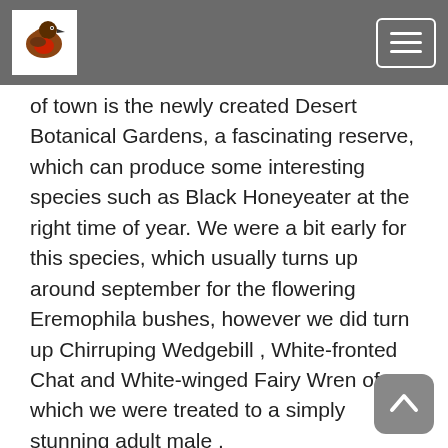[Bird watching website header with logo and menu button]
of town is the newly created Desert Botanical Gardens, a fascinating reserve, which can produce some interesting species such as Black Honeyeater at the right time of year. We were a bit early for this species, which usually turns up around september for the flowering Eremophila bushes, however we did turn up Chirruping Wedgebill , White-fronted Chat and White-winged Fairy Wren of which we were treated to a simply stunning adult male .
After this we still had quite a way to go until Wilpena where we arrived after dark, our journey having been punctuated by an unfortunate collision with a kangaroo , felling the beast and damaging Peter's bumper .